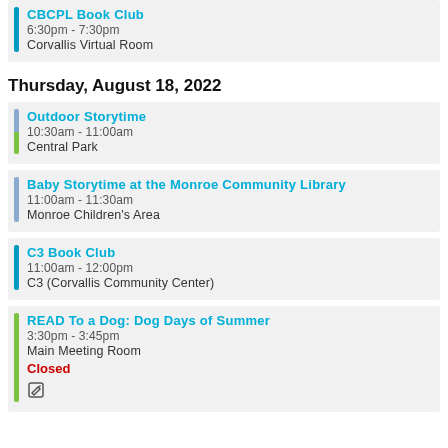CBCPL Book Club
6:30pm - 7:30pm
Corvallis Virtual Room
Thursday, August 18, 2022
Outdoor Storytime
10:30am - 11:00am
Central Park
Baby Storytime at the Monroe Community Library
11:00am - 11:30am
Monroe Children's Area
C3 Book Club
11:00am - 12:00pm
C3 (Corvallis Community Center)
READ To a Dog: Dog Days of Summer
3:30pm - 3:45pm
Main Meeting Room
Closed